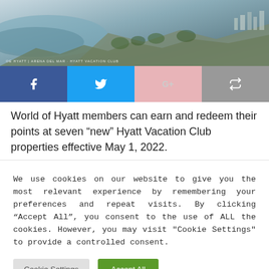[Figure (photo): Aerial photo of coastal resort property, Hyatt Vacation Club, with ocean and cliffs visible. Caption text: OE HYATT | ARENA DEL MAR · HYATT VACATION CLUB]
[Figure (infographic): Social share buttons row: Facebook (blue), Twitter (light blue), Google+ (pink), Forward/share (gray)]
World of Hyatt members can earn and redeem their points at seven “new” Hyatt Vacation Club properties effective May 1, 2022.
We use cookies on our website to give you the most relevant experience by remembering your preferences and repeat visits. By clicking “Accept All”, you consent to the use of ALL the cookies. However, you may visit "Cookie Settings" to provide a controlled consent.
Cookie Settings | Accept All